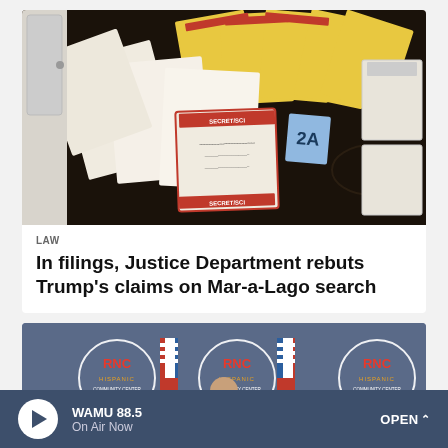[Figure (photo): Documents laid out on a dark patterned surface, including folders marked SECRET/SCI and yellow classified document covers, with a label '2A' visible and filing boxes in the background. This is the FBI evidence photo from the Mar-a-Lago search.]
LAW
In filings, Justice Department rebuts Trump's claims on Mar-a-Lago search
[Figure (photo): A person standing at a podium in front of multiple RNC Hispanic Community Center backdrop banners with American flags on either side.]
WAMU 88.5 On Air Now OPEN ^